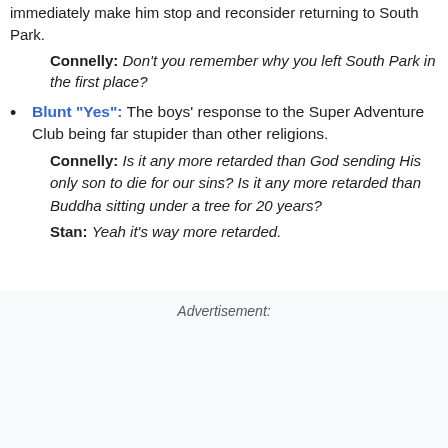immediately make him stop and reconsider returning to South Park.
Connelly: Don't you remember why you left South Park in the first place?
Blunt "Yes": The boys' response to the Super Adventure Club being far stupider than other religions.
Connelly: Is it any more retarded than God sending His only son to die for our sins? Is it any more retarded than Buddha sitting under a tree for 20 years?
Stan: Yeah it's way more retarded.
Advertisement: